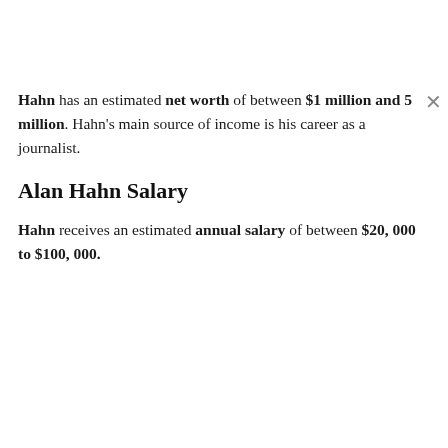Hahn has an estimated net worth of between $1 million and 5 million. Hahn's main source of income is his career as a journalist.
Alan Hahn Salary
Hahn receives an estimated annual salary of between $20, 000 to $100, 000.